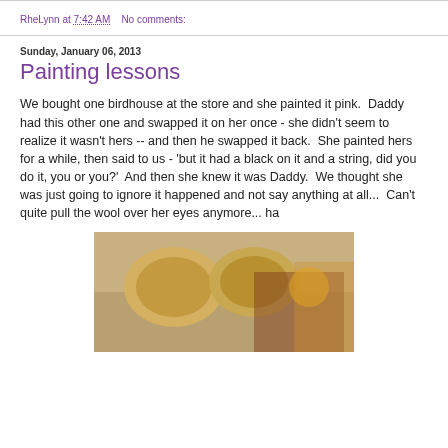RheLynn at 7:42 AM   No comments:
Sunday, January 06, 2013
Painting lessons
We bought one birdhouse at the store and she painted it pink.  Daddy had this other one and swapped it on her once - she didn't seem to realize it wasn't hers -- and then he swapped it back.  She painted hers for a while, then said to us - 'but it had a black on it and a string, did you do it, you or you?'  And then she knew it was Daddy.  We thought she was just going to ignore it happened and not say anything at all...  Can't quite pull the wool over her eyes anymore... ha
[Figure (photo): Photo of children painting birdhouses, two children with blonde hair visible from above]